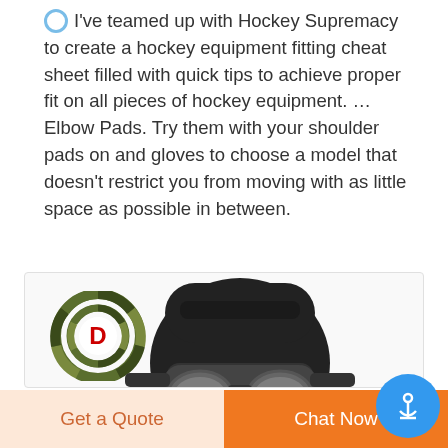I've teamed up with Hockey Supremacy to create a hockey equipment fitting cheat sheet filled with quick tips to achieve proper fit on all pieces of hockey equipment. … Elbow Pads. Try them with your shoulder pads on and gloves to choose a model that doesn't restrict you from moving with as little space as possible in between.
[Figure (photo): DEEKON brand logo (camouflage circular logo with red D, and red DEEKON text) alongside a black tactical/military gas mask full-face respirator on a white background.]
Get a Quote
Chat Now